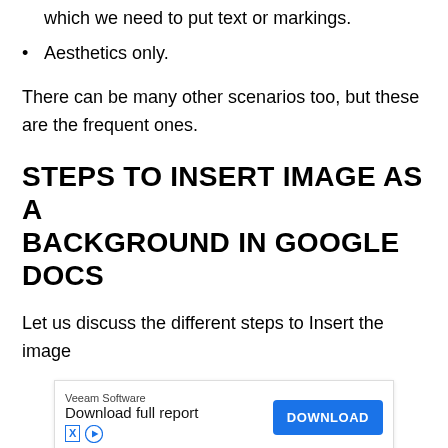which we need to put text or markings.
Aesthetics only.
There can be many other scenarios too, but these are the frequent ones.
STEPS TO INSERT IMAGE AS A BACKGROUND IN GOOGLE DOCS
Let us discuss the different steps to Insert the image
[Figure (other): Advertisement banner for Veeam Software: 'Download full report' with a blue DOWNLOAD button and ad icons]